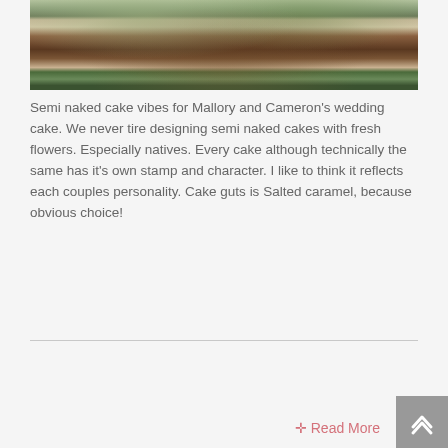[Figure (photo): Close-up photograph of a semi-naked layered wedding cake decorated with eucalyptus leaves and greenery, showing chocolate/dark cake layers with cream frosting, partially cropped at top.]
Semi naked cake vibes for Mallory and Cameron's wedding cake. We never tire designing semi naked cakes with fresh flowers. Especially natives. Every cake although technically the same has it's own stamp and character. I like to think it reflects each couples personality. Cake guts is Salted caramel, because obvious choice!
✛ Read More